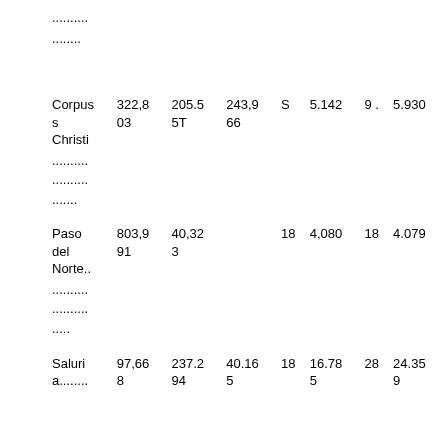..........
........
| Corpus Christi | 322,803 | 205.55T | 243,966 | S | 5.142 | 9 . | 5.930 |
|  | .......... |  |  |  |  |  |  |
|  | .......... |  |  |  |  |  |  |
|  | ....... |  |  |  |  |  |  |
| Paso del Norte.. | 803,991 | 40,323 |  | 18 | 4,080 | 18 | 4.079 |
|  | .......... |  |  |  |  |  |  |
|  | .......... |  |  |  |  |  |  |
|  | ..... |  |  |  |  |  |  |
| Saluria........ | 97,668 | 237.294 | 40.165 | 18 | 16.785 | 28 | 24.359 |